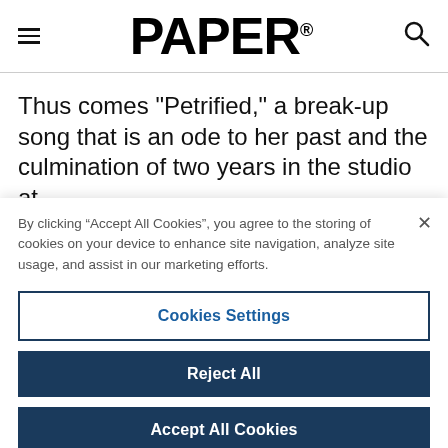PAPER®
Thus comes "Petrified," a break-up song that is an ode to her past and the culmination of two years in the studio at
By clicking “Accept All Cookies”, you agree to the storing of cookies on your device to enhance site navigation, analyze site usage, and assist in our marketing efforts.
Cookies Settings
Reject All
Accept All Cookies